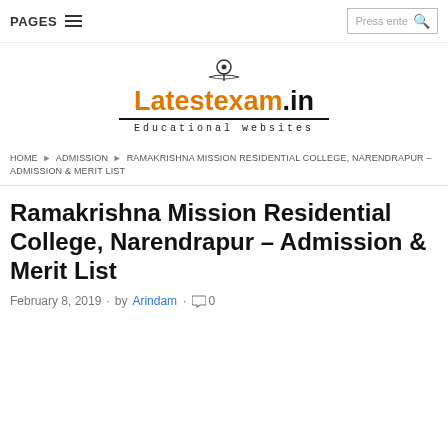PAGES  ☰   Press ente 🔍
[Figure (logo): Latestexam.in logo with student icon, orange and black text, underline, tagline 'Educational websites']
HOME ▶ ADMISSION ▶ RAMAKRISHNA MISSION RESIDENTIAL COLLEGE, NARENDRAPUR – ADMISSION & MERIT LIST
Ramakrishna Mission Residential College, Narendrapur – Admission & Merit List
February 8, 2019 · by Arindam · 💬 0